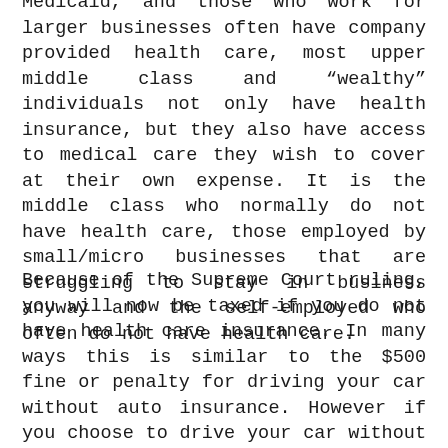Medicaid, and those who work for larger businesses often have company provided health care, most upper middle class and "wealthy" individuals not only have health insurance, but they also have access to medical care they wish to cover at their own expense. It is the middle class who normally do not have health care, those employed by small/micro businesses that are struggling to stay in business anyway and the self-employed who often do not have health care.
Because of the Supreme Court ruling, you will now be taxed if you do not have health care insurance. In many ways this is similar to the $500 fine or penalty for driving your car without auto insurance. However if you choose to drive your car without insurance you have to be in an